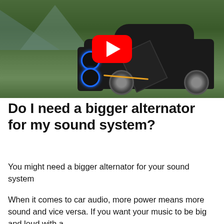[Figure (photo): A black portable JBL-style speaker sitting on grass next to a black car with its door open. A YouTube play button overlay is centered on the image. Mountains visible in the background.]
Do I need a bigger alternator for my sound system?
You might need a bigger alternator for your sound system
When it comes to car audio, more power means more sound and vice versa. If you want your music to be big and loud with a